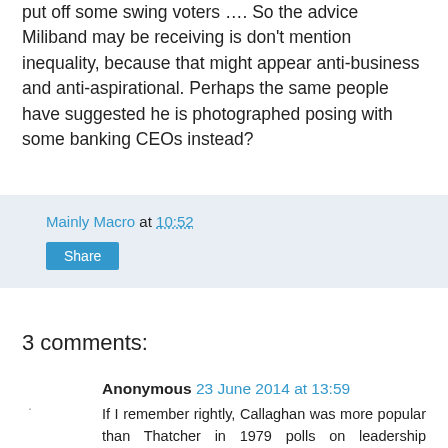put off some swing voters …. So the advice Miliband may be receiving is don't mention inequality, because that might appear anti-business and anti-aspirational. Perhaps the same people have suggested he is photographed posing with some banking CEOs instead?
Mainly Macro at 10:52
Share
3 comments:
Anonymous 23 June 2014 at 13:59
If I remember rightly, Callaghan was more popular than Thatcher in 1979 polls on leadership qualities, and Thatcher only had a few Falklands months in her eleven years in which she topped 50% support for her personal premiership.